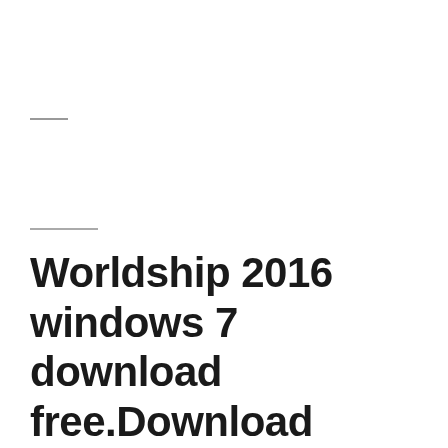Worldship 2016 windows 7 download free.Download WorldShip: UPS – United States